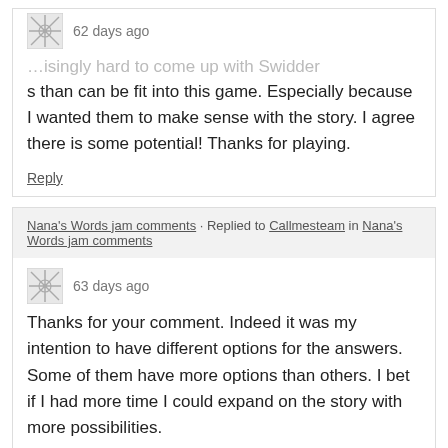s than can be fit into this game. Especially because I wanted them to make sense with the story. I agree there is some potential! Thanks for playing.
Reply
Nana's Words jam comments · Replied to Callmesteam in Nana's Words jam comments
63 days ago
Thanks for your comment. Indeed it was my intention to have different options for the answers. Some of them have more options than others. I bet if I had more time I could expand on the story with more possibilities.
Reply